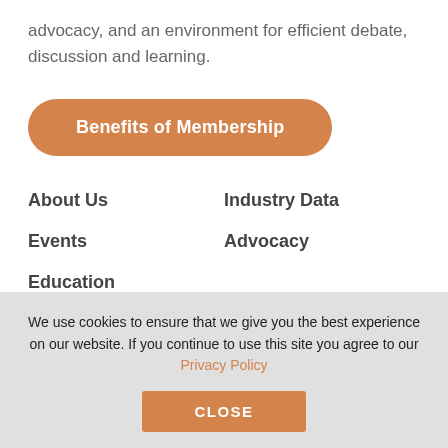advocacy, and an environment for efficient debate, discussion and learning.
Benefits of Membership
About Us
Industry Data
Events
Advocacy
Education
Privacy Policy
We use cookies to ensure that we give you the best experience on our website. If you continue to use this site you agree to our Privacy Policy
CLOSE